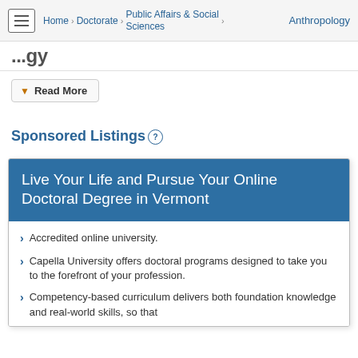Home > Doctorate > Public Affairs & Social Sciences > Anthropology
Anthropology
Read More
Sponsored Listings
Live Your Life and Pursue Your Online Doctoral Degree in Vermont
Accredited online university.
Capella University offers doctoral programs designed to take you to the forefront of your profession.
Competency-based curriculum delivers both foundation knowledge and real-world skills, so that